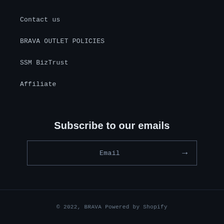Contact us
BRAVA OUTLET POLICIES
SSM BizTrust
Affiliate
Subscribe to our emails
Email
© 2022, BRAVA Powered by Shopify